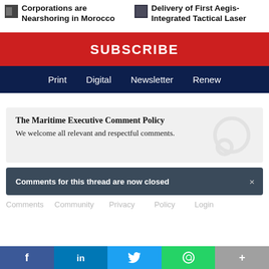Corporations are Nearshoring in Morocco
Delivery of First Aegis-Integrated Tactical Laser
SUBSCRIBE
Print   Digital   Newsletter   Renew
The Maritime Executive Comment Policy
We welcome all relevant and respectful comments.
Comments for this thread are now closed